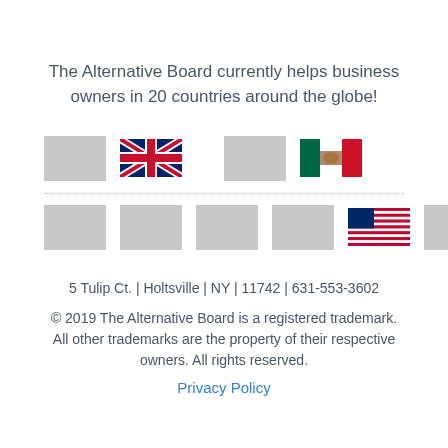The Alternative Board currently helps business owners in 20 countries around the globe!
[Figure (illustration): A row of country flags including UK flag and Mexico flag, with gray placeholder squares for other countries, arranged in two rows]
5 Tulip Ct. | Holtsville | NY | 11742 | 631-553-3602
© 2019 The Alternative Board is a registered trademark. All other trademarks are the property of their respective owners. All rights reserved.
Privacy Policy